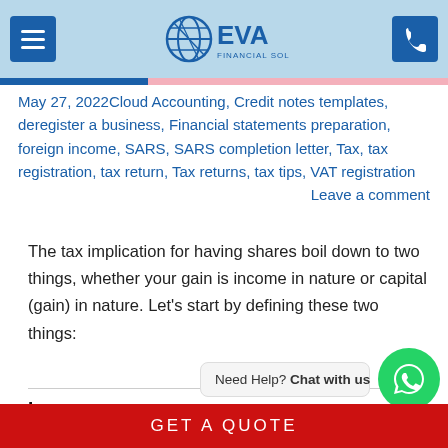[Figure (logo): EVA Financial Solutions logo with navigation menu and phone button in light blue header bar]
May 27, 2022Cloud Accounting, Credit notes templates, deregister a business, Financial statements preparation, foreign income, SARS, SARS completion letter, Tax, tax registration, tax return, Tax returns, tax tips, VAT registration                  Leave a comment
The tax implication for having shares boil down to two things, whether your gain is income in nature or capital (gain) in nature. Let’s start by defining these two things:
Income:
Need Help? Chat with us